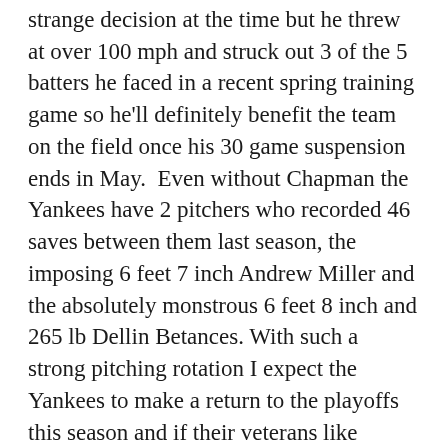strange decision at the time but he threw at over 100 mph and struck out 3 of the 5 batters he faced in a recent spring training game so he'll definitely benefit the team on the field once his 30 game suspension ends in May.  Even without Chapman the Yankees have 2 pitchers who recorded 46 saves between them last season, the imposing 6 feet 7 inch Andrew Miller and the absolutely monstrous 6 feet 8 inch and 265 lb Dellin Betances. With such a strong pitching rotation I expect the Yankees to make a return to the playoffs this season and if their veterans like Jacoby Ellsbury, Carlos Beltran and of course A- Rod can produce the goods they should win the division.